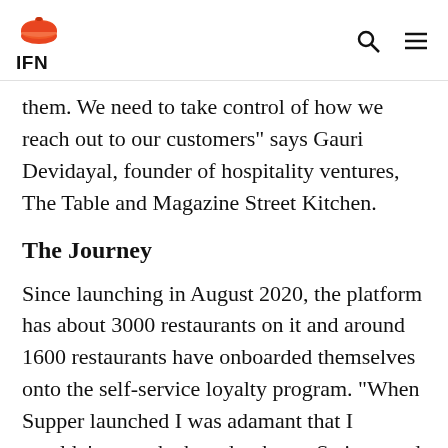IFN
them. We need to take control of how we reach out to our customers" says Gauri Devidayal, founder of hospitality ventures, The Table and Magazine Street Kitchen.
The Journey
Since launching in August 2020, the platform has about 3000 restaurants on it and around 1600 restaurants have onboarded themselves onto the self-service loyalty program. "When Supper launched I was adamant that I wouldn't want the brand to be on Swiggy and Zomato. There is a flip side to working with these